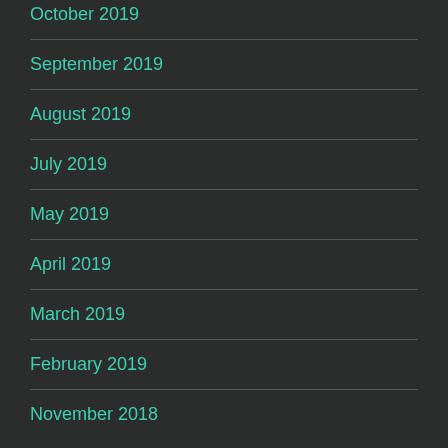October 2019
September 2019
August 2019
July 2019
May 2019
April 2019
March 2019
February 2019
November 2018